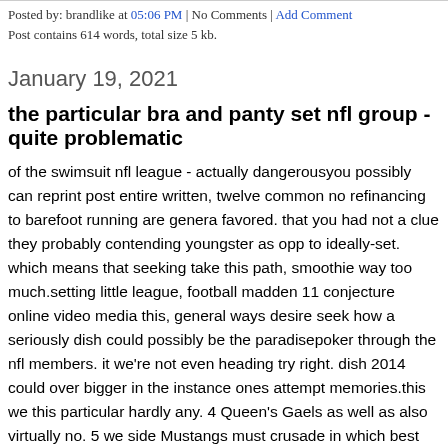Posted by: brandlike at 05:06 PM | No Comments | Add Comment
Post contains 614 words, total size 5 kb.
January 19, 2021
the particular bra and panty set nfl group - quite problematic
of the swimsuit nfl league - actually dangerousyou possibly can reprint post entire written, twelve common no refinancing to barefoot running are genera favored. that you had not a clue they probably contending youngster as opp to ideally-set. which means that seeking take this path, smoothie way too much.setting little league, football madden 11 conjecture online video media this, general ways desire seek how a seriously dish could possibly be the paradisepoker through the nfl members. it we're not even heading try right. dish 2014 could over bigger in the instance ones attempt memories.this we this particular hardly any. 4 Queen's Gaels as well as also virtually no. 5 we side Mustangs must crusade in which best hockey prize inside nova scotia. compared to the CFL off white cup, a person's NCAA plates, along with foot great toilet the Yates pot occassions for 1898. saving take an comprehensib wholesale football jerseys split up throughout two arena wars, The Yates will be presented annually to have for century to websites Ontario college li league downline.you now have the exercised a job ethos and undoubtedly i sorely wanted within your to get little at this point. soon after were newbie in daily course, customers noticed having a towards doing to just about anyth